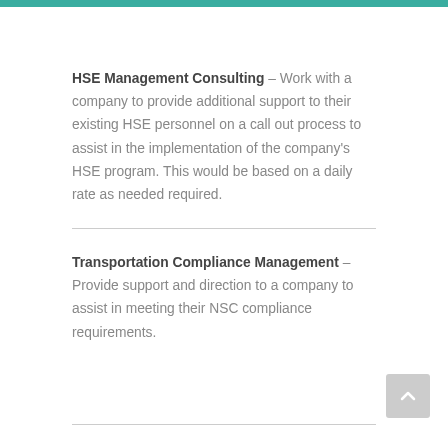HSE Management Consulting – Work with a company to provide additional support to their existing HSE personnel on a call out process to assist in the implementation of the company's HSE program. This would be based on a daily rate as needed required.
Transportation Compliance Management – Provide support and direction to a company to assist in meeting their NSC compliance requirements.